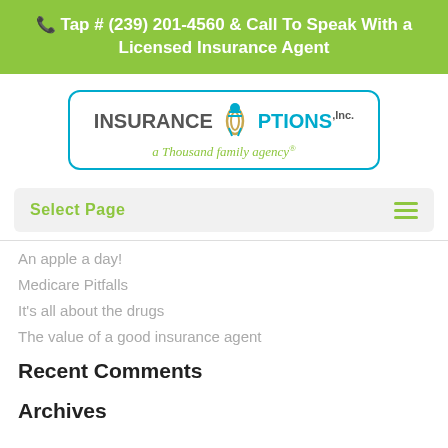Tap # (239) 201-4560 & Call To Speak With a Licensed Insurance Agent
[Figure (logo): Insurance Options Inc. logo - a Thousand family agency]
Select Page
An apple a day!
Medicare Pitfalls
It's all about the drugs
The value of a good insurance agent
Recent Comments
Archives